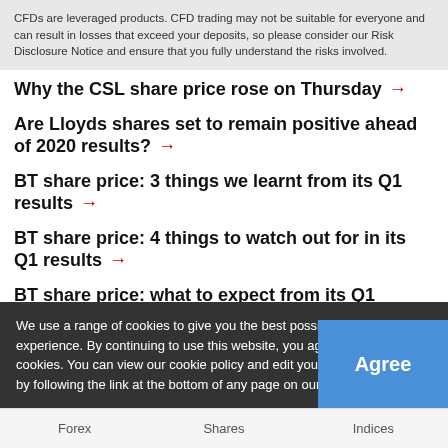CFDs are leveraged products. CFD trading may not be suitable for everyone and can result in losses that exceed your deposits, so please consider our Risk Disclosure Notice and ensure that you fully understand the risks involved.
Why the CSL share price rose on Thursday →
Are Lloyds shares set to remain positive ahead of 2020 results? →
BT share price: 3 things we learnt from its Q1 results →
BT share price: 4 things to watch out for in its Q1 results →
BT share price: what to expect from its Q1 results →
We use a range of cookies to give you the best possible browsing experience. By continuing to use this website, you agree to our use of cookies. You can view our cookie policy and edit your settings here, or by following the link at the bottom of any page on our site.
Forex   Shares   Indices